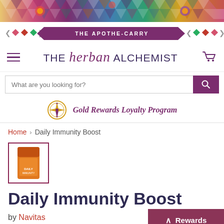[Figure (illustration): Colorful decorative top banner with geometric tribal/aztec pattern in multicolors]
THE APOTHE-CARRY
THE herban ALCHEMIST
What are you looking for?
Gold Rewards Loyalty Program
Home > Daily Immunity Boost
[Figure (photo): Small product thumbnail image of Daily Immunity Boost package in orange]
Daily Immunity Boost
by Navitas
Rewards